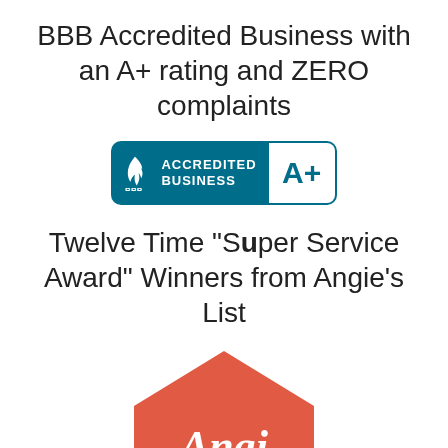BBB Accredited Business with an A+ rating and ZERO complaints
[Figure (logo): BBB Accredited Business badge with teal background showing flame logo and 'ACCREDITED BUSINESS' text, paired with A+ rating box]
Twelve Time "Super Service Award" Winners from Angie's List
[Figure (logo): Angi (formerly Angie's List) Super Service Award 2021 badge — red house-shaped badge with 'Angi' in white script above a dark red ribbon banner showing '2021']